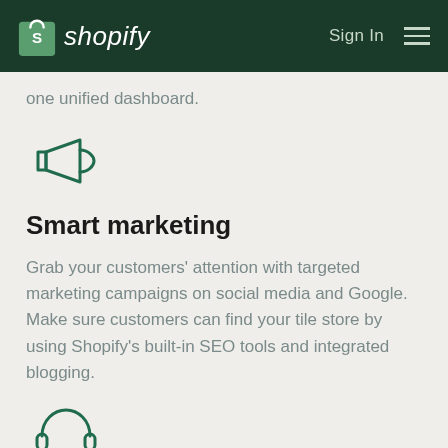shopify   Sign In
one unified dashboard.
[Figure (illustration): Megaphone / marketing icon in dark green outline style]
Smart marketing
Grab your customers' attention with targeted marketing campaigns on social media and Google. Make sure customers can find your tile store by using Shopify's built-in SEO tools and integrated blogging.
[Figure (illustration): Headset / customer support icon in dark green outline style]